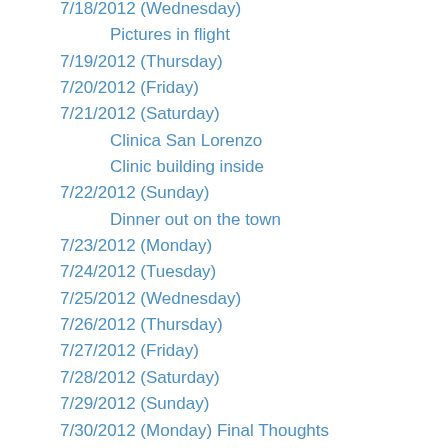7/18/2012 (Wednesday)
Pictures in flight
7/19/2012 (Thursday)
7/20/2012 (Friday)
7/21/2012 (Saturday)
Clinica San Lorenzo
Clinic building inside
7/22/2012 (Sunday)
Dinner out on the town
7/23/2012 (Monday)
7/24/2012 (Tuesday)
7/25/2012 (Wednesday)
7/26/2012 (Thursday)
7/27/2012 (Friday)
7/28/2012 (Saturday)
7/29/2012 (Sunday)
7/30/2012 (Monday) Final Thoughts
Trip 1, June 2004
6/15/04 (Tuesday)
6/16/04 (Wednesday)